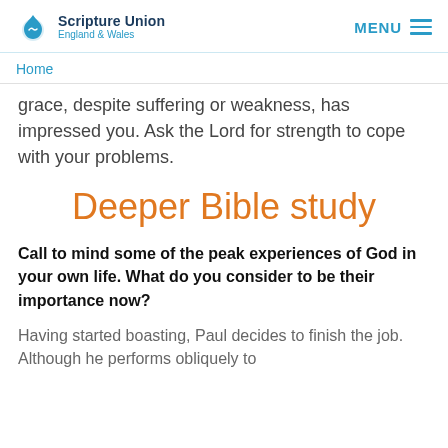Scripture Union England & Wales | MENU
Home
grace, despite suffering or weakness, has impressed you. Ask the Lord for strength to cope with your problems.
Deeper Bible study
Call to mind some of the peak experiences of God in your own life. What do you consider to be their importance now?
Having started boasting, Paul decides to finish the job. Although he performs obliquely to